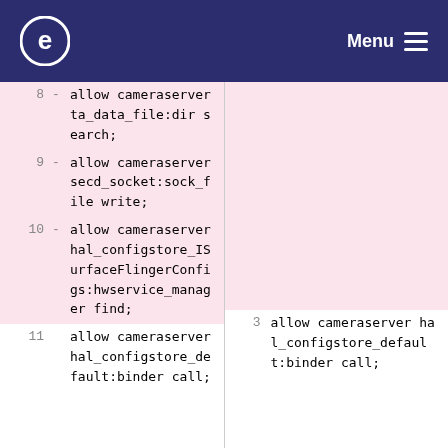e  Menu
| line | diff | code | right-line | right-code |
| --- | --- | --- | --- | --- |
| 8 | - | allow cameraserver ta_data_file:dir search; |  |  |
| 9 | - | allow cameraserver secd_socket:sock_file write; |  |  |
| 10 | - | allow cameraserver hal_configstore_ISurfaceFlingerConfigs:hwservice_manager find; |  |  |
| 11 |  | allow cameraserver hal_configstore_default:binder call; | 3 | allow cameraserver hal_configstore_default:binder call; |